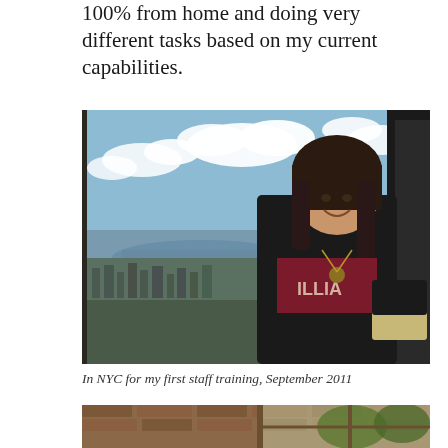100% from home and doing very different tasks based on my current capabilities.
[Figure (photo): Young woman with dark hair smiling, standing in front of a large window with a cityscape and sky view behind her, wearing a dark jacket over a maroon t-shirt that reads 'ILLIA', with a necklace, at what appears to be a high-rise observation deck in New York City.]
In NYC for my first staff training, September 2011
[Figure (photo): Partial view of a brick building exterior, bottom portion of second photo cropped.]